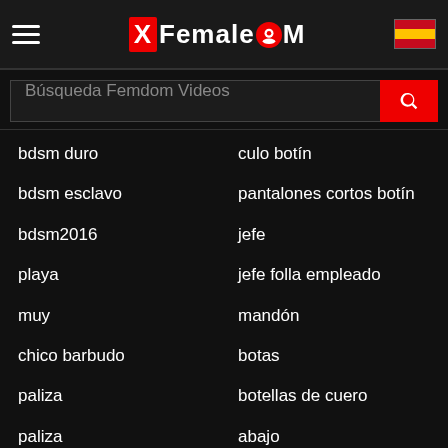XFemaleDOMM
Búsqueda Femdom Videos
culo botín
bdsm duro
pantalones cortos botín
bdsm esclavo
jefe
bdsm2016
jefe folla empleado
playa
mandón
muy
botas
chico barbudo
botellas de cuero
paliza
abajo
paliza
rebote
bellezas